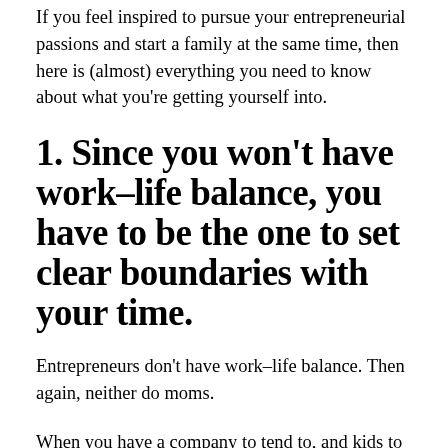If you feel inspired to pursue your entrepreneurial passions and start a family at the same time, then here is (almost) everything you need to know about what you're getting yourself into.
1. Since you won't have work–life balance, you have to be the one to set clear boundaries with your time.
Entrepreneurs don't have work–life balance. Then again, neither do moms.
When you have a company to tend to, and kids to take care of, nobody is going to set